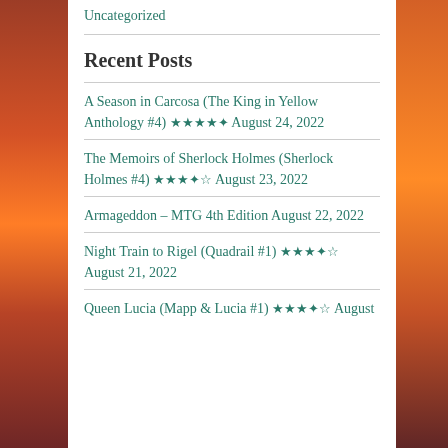Uncategorized
Recent Posts
A Season in Carcosa (The King in Yellow Anthology #4) ★★★★✦ August 24, 2022
The Memoirs of Sherlock Holmes (Sherlock Holmes #4) ★★★✦☆ August 23, 2022
Armageddon – MTG 4th Edition August 22, 2022
Night Train to Rigel (Quadrail #1) ★★★✦☆ August 21, 2022
Queen Lucia (Mapp & Lucia #1) ★★★✦☆ August